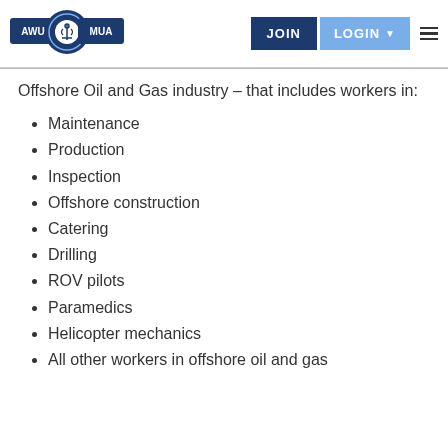AWU MUA — JOIN | LOGIN navigation bar
Offshore Oil and Gas industry – that includes workers in:
Maintenance
Production
Inspection
Offshore construction
Catering
Drilling
ROV pilots
Paramedics
Helicopter mechanics
All other workers in offshore oil and gas